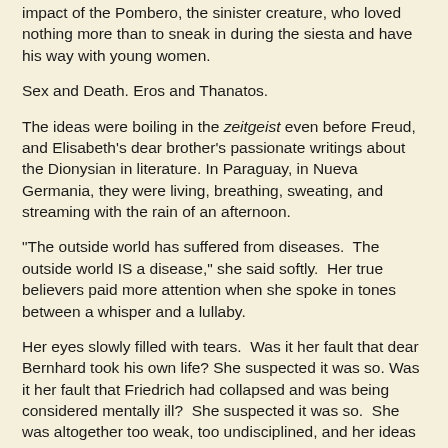impact of the Pombero, the sinister creature, who loved nothing more than to sneak in during the siesta and have his way with young women.
Sex and Death. Eros and Thanatos.
The ideas were boiling in the zeitgeist even before Freud, and Elisabeth’s dear brother’s passionate writings about the Dionysian in literature. In Paraguay, in Nueva Germania, they were living, breathing, sweating, and streaming with the rain of an afternoon.
“The outside world has suffered from diseases.  The outside world IS a disease,” she said softly.  Her true believers paid more attention when she spoke in tones between a whisper and a lullaby.
Her eyes slowly filled with tears.  Was it her fault that dear Bernhard took his own life? She suspected it was so. Was it her fault that Friedrich had collapsed and was being considered mentally ill?  She suspected it was so.  She was altogether too weak, too undisciplined, and her ideas about a better world only ricocheted from side to side inside the